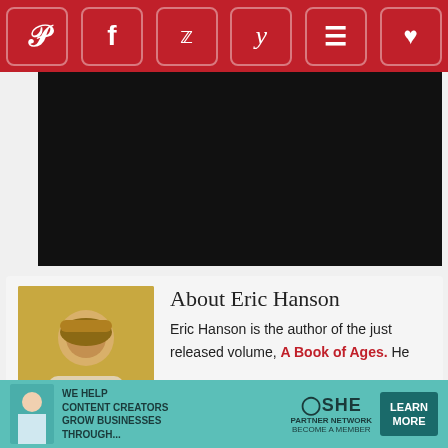[Figure (infographic): Social media sharing bar with icons for Pinterest, Facebook, Twitter, Yummly, Flipboard, and a heart/favorite button on a dark red background]
[Figure (photo): Black/dark image bar (video or image placeholder)]
About Eric Hanson
[Figure (photo): Photo of Eric Hanson wearing a yellow cap and glasses]
Eric Hanson is the author of the just released volume, A Book of Ages. He writes for McSweeney's. (And we're not jealous of that. Honest.) A four page selection from his new book appeared in the October issue of the Atlantic.
Filed Under: Writings
[Figure (infographic): SHE Media advertisement: We help content creators grow businesses through... SHE Partner Network. Become a Member. Learn More button.]